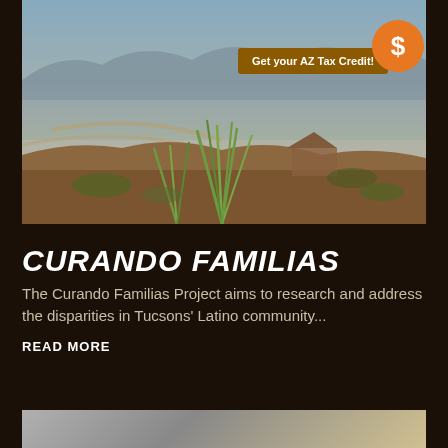[Figure (photo): Aerial desert landscape photo of Tucson with saguaro cacti and ocotillo plants in foreground, city and mountains in background. Orange 'Get your AZ Tax Credit!' button and orange dollar-sign circle badge overlaid on the image.]
CURANDO FAMILIAS
The Curando Familias Project aims to research and address the disparities in Tucsons' Latino community...
READ MORE
[Figure (photo): Partial bottom strip showing a person's photo, cropped at bottom of page.]